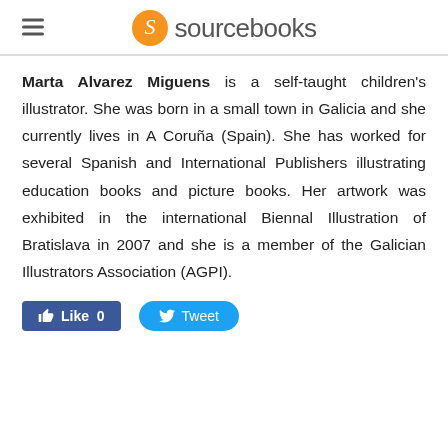sourcebooks
Marta Alvarez Miguens is a self-taught children's illustrator. She was born in a small town in Galicia and she currently lives in A Coruña (Spain). She has worked for several Spanish and International Publishers illustrating education books and picture books. Her artwork was exhibited in the international Biennal Illustration of Bratislava in 2007 and she is a member of the Galician Illustrators Association (AGPI).
[Figure (other): Facebook Like button (0 likes) and Twitter Tweet button]